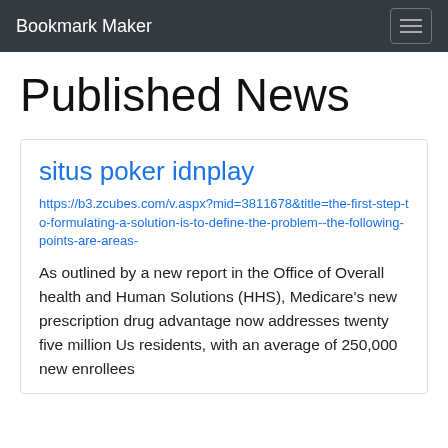Bookmark Maker
Published News
situs poker idnplay
https://b3.zcubes.com/v.aspx?mid=3811678&title=the-first-step-to-formulating-a-solution-is-to-define-the-problem--the-following-points-are-areas-
As outlined by a new report in the Office of Overall health and Human Solutions (HHS), Medicare's new prescription drug advantage now addresses twenty five million Us residents, with an average of 250,000 new enrollees